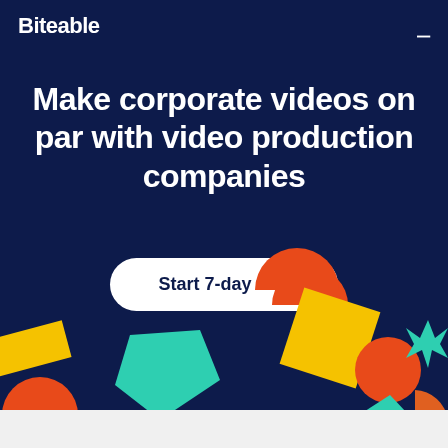Biteable
Make corporate videos on par with video production companies
Start 7-day trial
[Figure (illustration): Decorative colorful geometric shapes at the bottom of the page: orange semicircle, teal pentagon, yellow rectangle, yellow tilted square, orange circle, teal starburst, teal triangle, orange wedge on a dark navy background.]